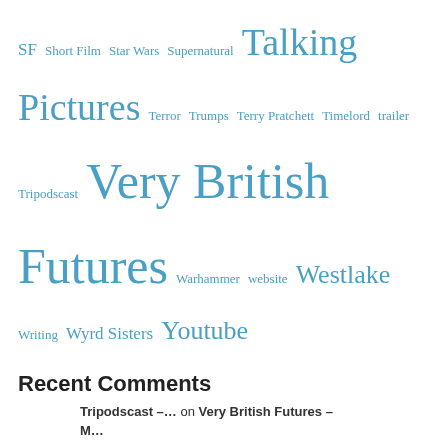SF Short Film Star Wars Supernatural Talking Pictures Terror Trumps Terry Pratchett Timelord trailer Tripodscast Very British Futures Warhammer website Westlake Writing Wyrd Sisters Youtube
Recent Comments
Tripodscast –… on Very British Futures – M…
gazhack on Hosting the Talking Pictures p…
John Reeves on Hosting the Talking Pictures p…
Podcasts, Superheroe… on Very British